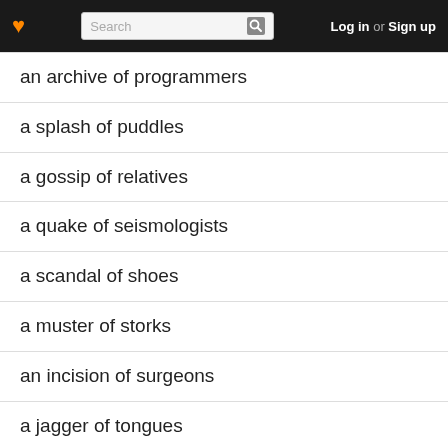Search | Log in or Sign up
an archive of programmers
a splash of puddles
a gossip of relatives
a quake of seismologists
a scandal of shoes
a muster of storks
an incision of surgeons
a jagger of tongues
a desperation of voters